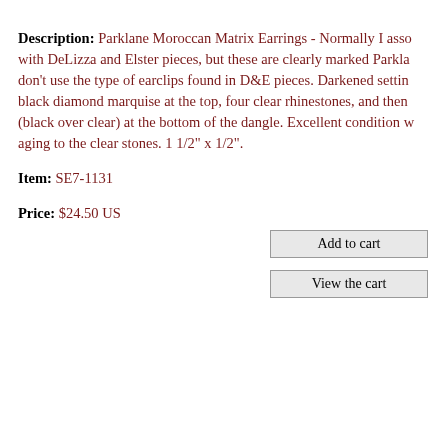Description: Parklane Moroccan Matrix Earrings - Normally I associate with DeLizza and Elster pieces, but these are clearly marked Parkla... don't use the type of earclips found in D&E pieces. Darkened setting... black diamond marquise at the top, four clear rhinestones, and then... (black over clear) at the bottom of the dangle. Excellent condition w... aging to the clear stones. 1 1/2" x 1/2".
Item: SE7-1131
Price: $24.50 US
Add to cart
View the cart